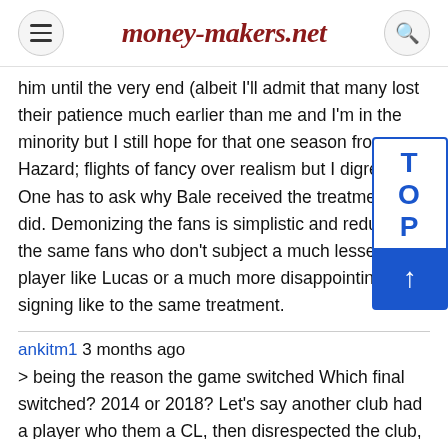money-makers.net
him until the very end (albeit I'll admit that many lost their patience much earlier than me and I'm in the minority but I still hope for that one season from Hazard; flights of fancy over realism but I digress). One has to ask why Bale received the treatment he did. Demonizing the fans is simplistic and reductive, the same fans who don't subject a much lesser player like Lucas or a much more disappointing signing like to the same treatment.
ankitm1 3 months ago
> being the reason the game switched Which final switched? 2014 or 2018? Let's say another club had a player who them a CL, then disrespected the club, got the coach to leave twice, stopped putting in